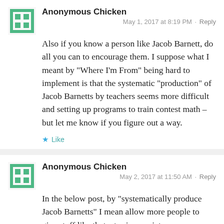[Figure (illustration): Green pixelated/blocky avatar icon for Anonymous Chicken, first comment]
Anonymous Chicken
May 1, 2017 at 8:19 PM · Reply
Also if you know a person like Jacob Barnett, do all you can to encourage them. I suppose what I meant by “Where I’m From” being hard to implement is that the systematic “production” of Jacob Barnetts by teachers seems more difficult and setting up programs to train contest math – but let me know if you figure out a way.
★ Like
[Figure (illustration): Green pixelated/blocky avatar icon for Anonymous Chicken, second comment]
Anonymous Chicken
May 2, 2017 at 11:50 AM · Reply
In the below post, by “systematically produce Jacob Barnetts” I mean allow more people to give stuff like that a try in a variety